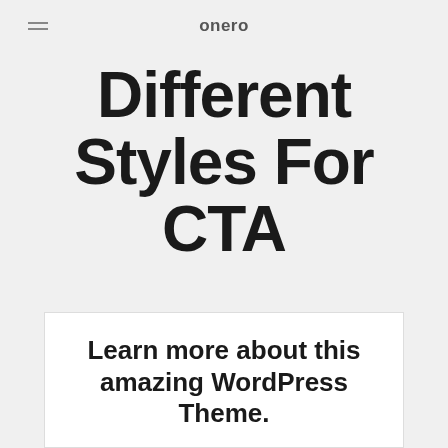onero
Different Styles For CTA
Sed ut perspiciatis unde omnis iste natus error sit voluptatem accusantium doloremque laudantium
Learn more about this amazing WordPress Theme.